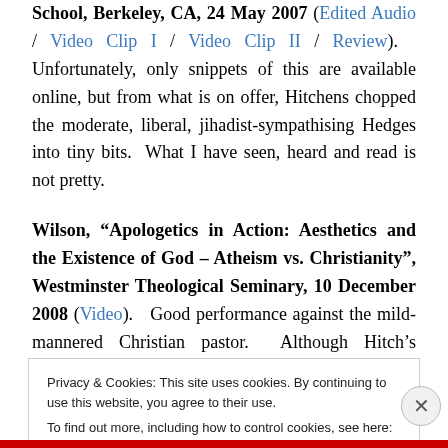School, Berkeley, CA, 24 May 2007 (Edited Audio / Video Clip I / Video Clip II / Review). Unfortunately, only snippets of this are available online, but from what is on offer, Hitchens chopped the moderate, liberal, jihadist-sympathising Hedges into tiny bits. What I have seen, heard and read is not pretty.
Wilson, "Apologetics in Action: Aesthetics and the Existence of God – Atheism vs. Christianity", Westminster Theological Seminary, 10 December 2008 (Video). Good performance against the mild-mannered Christian pastor. Although Hitch's anecdote about the
Privacy & Cookies: This site uses cookies. By continuing to use this website, you agree to their use. To find out more, including how to control cookies, see here: Cookie Policy